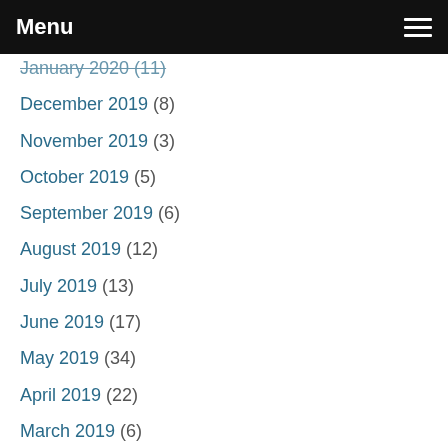Menu
January 2020 (11)
December 2019 (8)
November 2019 (3)
October 2019 (5)
September 2019 (6)
August 2019 (12)
July 2019 (13)
June 2019 (17)
May 2019 (34)
April 2019 (22)
March 2019 (6)
February 2019 (20)
January 2019 (5)
December 2018 (15)
November 2018 (?)